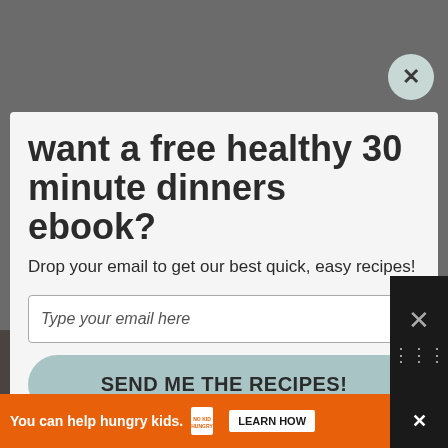[Figure (screenshot): Dark gray background overlay behind modal popup]
want a free healthy 30 minute dinners ebook?
Drop your email to get our best quick, easy recipes!
Type your email here
SEND ME THE RECIPES!
[Figure (photo): Dark food photo at bottom of page behind modal]
You can help hungry kids. NO KID HUNGRY LEARN HOW